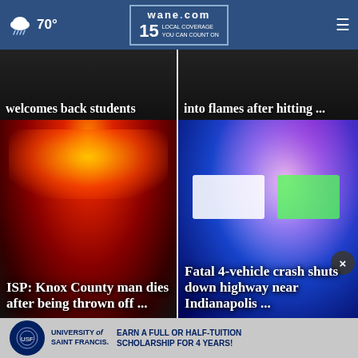70° | wane.com 15 LOCAL COVERAGE YOU CAN COUNT ON
[Figure (screenshot): News card top-left: St. Francis welcomes back students (partially cropped)]
welcomes back students
[Figure (screenshot): News card top-right: Car/truck burst into flames after hitting ... (partially cropped)]
into flames after hitting ...
[Figure (photo): Red emergency lights photo — ISP Knox County man dies after being thrown off ...]
ISP: Knox County man dies after being thrown off ...
[Figure (photo): Blue/purple police lights photo — Fatal 4-vehicle crash shuts down highway near Indianapolis ...]
Fatal 4-vehicle crash shuts down highway near Indianapolis ...
[Figure (infographic): University of Saint Francis advertisement — EARN A FULL OR HALF-TUITION SCHOLARSHIP FOR 4 YEARS!]